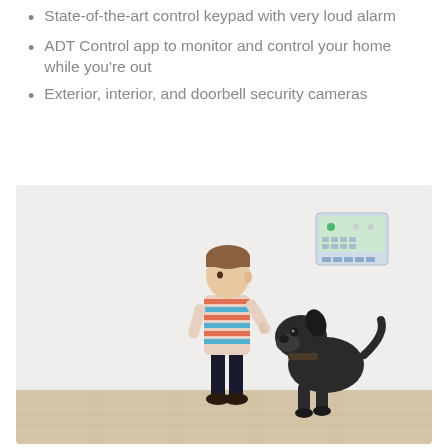State-of-the-art control keypad with very loud alarm
ADT Control app to monitor and control your home while you're out
Exterior, interior, and doorbell security cameras
[Figure (photo): A young boy standing and pointing his finger toward a dark-colored dog sitting and looking up at him, with an ADT security keypad mounted on the wall in the background. The scene is set in a room with white walls and light wood flooring.]